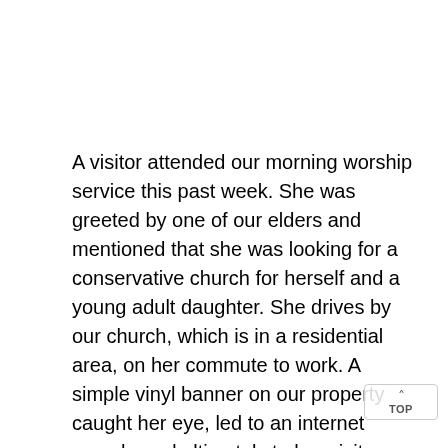A visitor attended our morning worship service this past week. She was greeted by one of our elders and mentioned that she was looking for a conservative church for herself and a young adult daughter. She drives by our church, which is in a residential area, on her commute to work. A simple vinyl banner on our property caught her eye, led to an internet search, and ultimately to her visit.
Our church facility has road frontage on two major thoroughfares and has afforded us the opportunity to utilize AYS banners to share various messages...